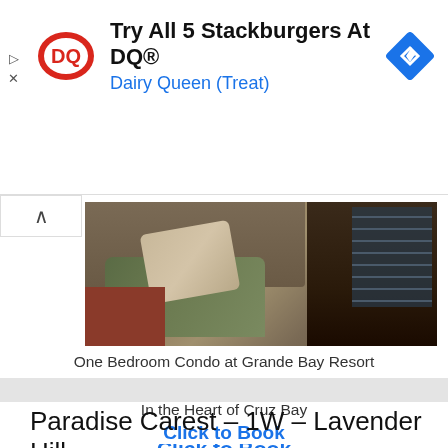[Figure (screenshot): Dairy Queen advertisement banner with DQ logo, text 'Try All 5 Stackburgers At DQ®' and 'Dairy Queen (Treat)', and a blue navigation diamond icon]
[Figure (photo): Interior photo of a living room showing a dark olive green sofa with patterned pillows, wooden staircase railing, and a rust/burgundy chair]
One Bedroom Condo at Grande Bay Resort
Walk to Restaurants
In the Heart of Cruz Bay
Click to Book
Paradise Carest – 1W – Lavender Hill